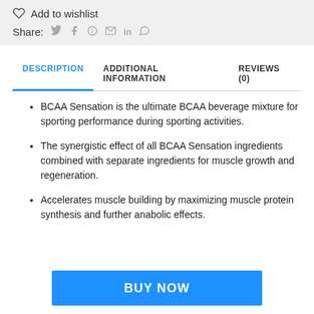Add to wishlist
Share: 🐦 f 𝗣 ✉ in
DESCRIPTION
ADDITIONAL INFORMATION
REVIEWS (0)
BCAA Sensation is the ultimate BCAA beverage mixture for sporting performance during sporting activities.
The synergistic effect of all BCAA Sensation ingredients combined with separate ingredients for muscle growth and regeneration.
Accelerates muscle building by maximizing muscle protein synthesis and further anabolic effects.
BUY NOW